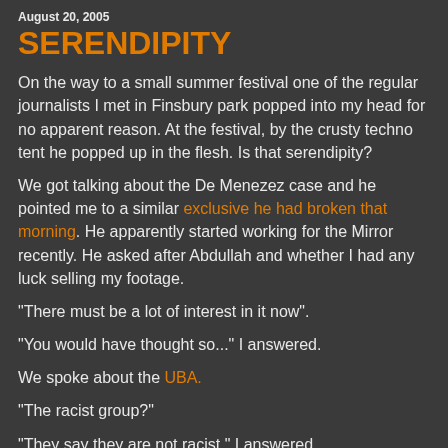August 20, 2005
SERENDIPITY
On the way to a small summer festival one of the regular journalists I met in Finsbury park popped into my head for no apparent reason. At the festival, by the crusty techno tent he popped up in the flesh. Is that serendipity?
We got talking about the De Menezez case and he pointed me to a similar exclusive he had broken that morning. He apparently started working for the Mirror recently. He asked after Abdullah and whether I had any luck selling my footage.
"There must be a lot of interest in it now".
"You would have thought so..." I answered.
We spoke about the UBA.
"The racist group?"
"They say they are not racist," I answered.